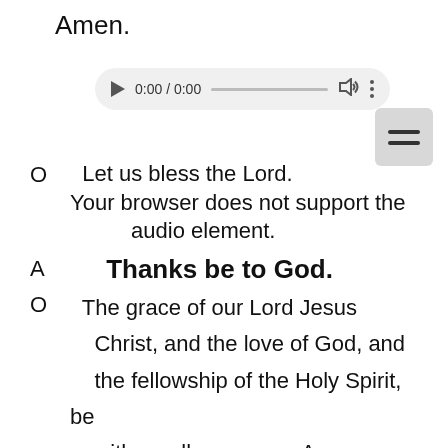Amen.
[Figure (other): Audio player widget showing 0:00 / 0:00 with play button, progress bar, volume icon, and more options button. Below the player is a menu/hamburger button. Fallback text: Your browser does not support the audio element.]
O   Let us bless the Lord.
Your browser does not support the audio element.
A   Thanks be to God.
O   The grace of our Lord Jesus Christ, and the love of God, and the fellowship of the Holy Spirit, be with us all evermore. Amen.